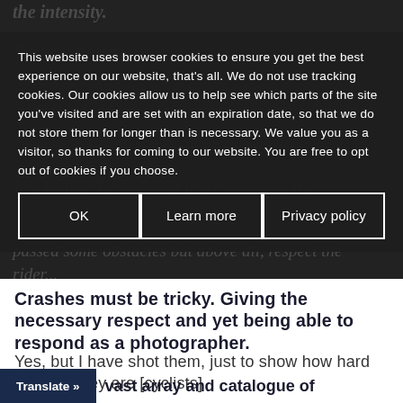the intensity.
This website uses browser cookies to ensure you get the best experience on our website, that's all. We do not use tracking cookies. Our cookies allow us to help see which parts of the site you've visited and are set with an expiration date, so that we do not store them for longer than is necessary. We value you as a visitor, so thanks for coming to our website. You are free to opt out of cookies if you choose.
OK
Learn more
Privacy policy
Crashes must be tricky. Giving the necessary respect and yet being able to respond as a photographer.
Yes, but I have shot them, just to show how hard as nails they are [cyclists]
vast array and catalogue of